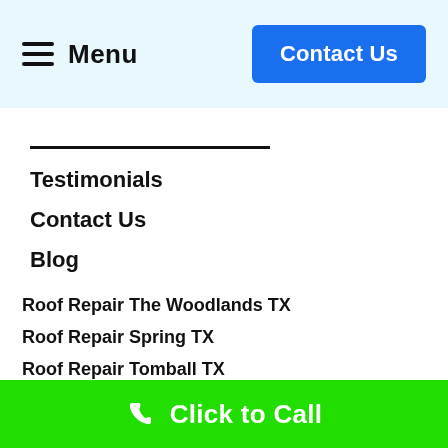Menu | Contact Us
Testimonials
Contact Us
Blog
Roof Repair The Woodlands TX
Roof Repair Spring TX
Roof Repair Tomball TX
Roof Repair Magnolia TX
Click to Call